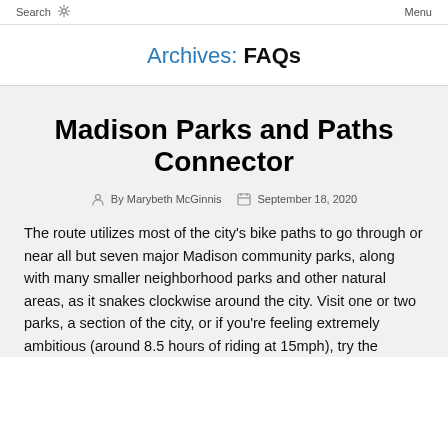Search   [gear icon]   Menu
Archives: FAQs
Madison Parks and Paths Connector
By Marybeth McGinnis   September 18, 2020
The route utilizes most of the city's bike paths to go through or near all but seven major Madison community parks, along with many smaller neighborhood parks and other natural areas, as it snakes clockwise around the city. Visit one or two parks, a section of the city, or if you're feeling extremely ambitious (around 8.5 hours of riding at 15mph), try the